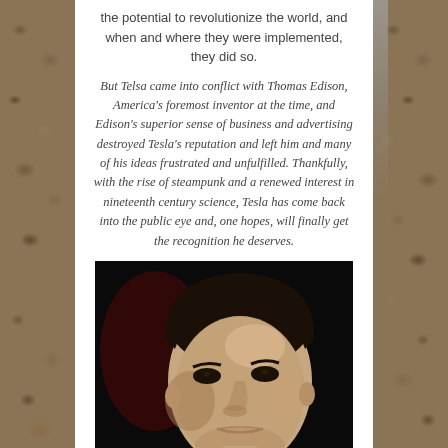the potential to revolutionize the world, and when and where they were implemented, they did so.
But Telsa came into conflict with Thomas Edison, America's foremost inventor at the time, and Edison's superior sense of business and advertising destroyed Tesla's reputation and left him and many of his ideas frustrated and unfulfilled. Thankfully, with the rise of steampunk and a renewed interest in nineteenth century science, Tesla has come back into the public eye and, one hopes, will finally get the recognition he deserves.
[Figure (photo): A portrait photograph of Nikola Tesla showing his face and upper body against a dark background, appearing to be a vintage colorized or stylized photo.]